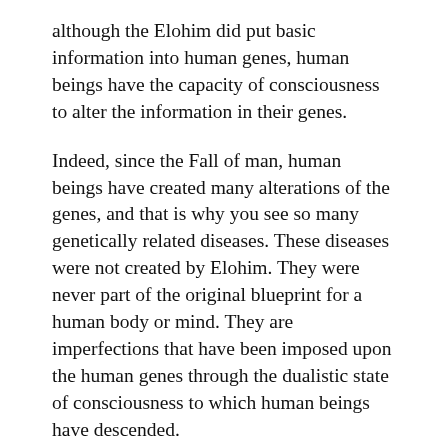although the Elohim did put basic information into human genes, human beings have the capacity of consciousness to alter the information in their genes.
Indeed, since the Fall of man, human beings have created many alterations of the genes, and that is why you see so many genetically related diseases. These diseases were not created by Elohim. They were never part of the original blueprint for a human body or mind. They are imperfections that have been imposed upon the human genes through the dualistic state of consciousness to which human beings have descended.
As I explained above, it is perfectly possible for human beings to program hatred into their genes. It is also possible to program the tendency to commit murder or the tendency towards homosexuality